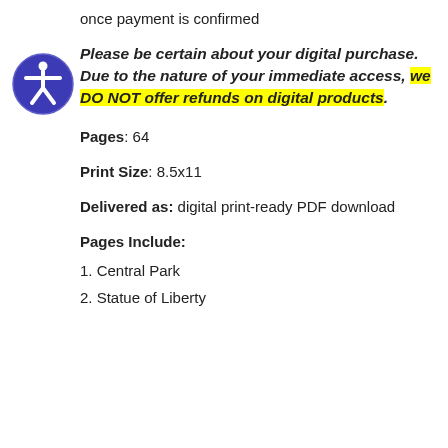once payment is confirmed
Please be certain about your digital purchase. Due to the nature of your immediate access, we DO NOT offer refunds on digital products.
Pages: 64
Print Size: 8.5x11
Delivered as: digital print-ready PDF download
Pages Include:
1. Central Park
2. Statue of Liberty